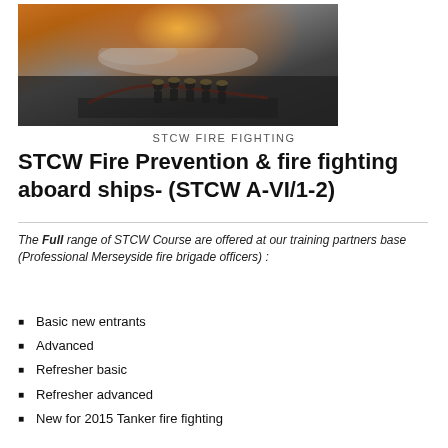[Figure (photo): Firefighters in protective gear using hoses during a live fire training exercise, with flames and smoke visible in the background.]
STCW FIRE FIGHTING
STCW Fire Prevention & fire fighting aboard ships- (STCW A-VI/1-2)
The Full range of STCW Course are offered at our training partners base (Professional Merseyside fire brigade officers) :
Basic new entrants
Advanced
Refresher basic
Refresher advanced
New for 2015 Tanker fire fighting